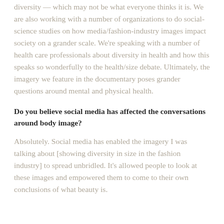diversity — which may not be what everyone thinks it is. We are also working with a number of organizations to do social-science studies on how media/fashion-industry images impact society on a grander scale. We're speaking with a number of health care professionals about diversity in health and how this speaks so wonderfully to the health/size debate. Ultimately, the imagery we feature in the documentary poses grander questions around mental and physical health.
Do you believe social media has affected the conversations around body image?
Absolutely. Social media has enabled the imagery I was talking about [showing diversity in size in the fashion industry] to spread unbridled. It's allowed people to look at these images and empowered them to come to their own conclusions of what beauty is.